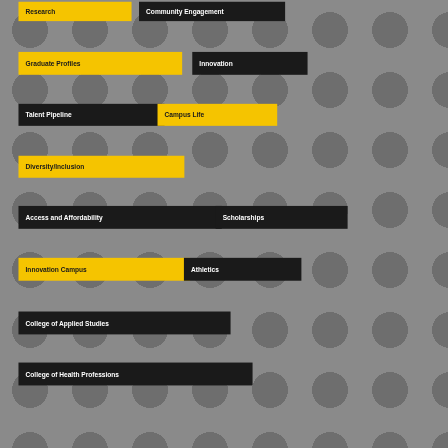Research
Community Engagement
Graduate Profiles
Innovation
Talent Pipeline
Campus Life
Diversity/Inclusion
Access and Affordability
Scholarships
Innovation Campus
Athletics
College of Applied Studies
College of Health Professions